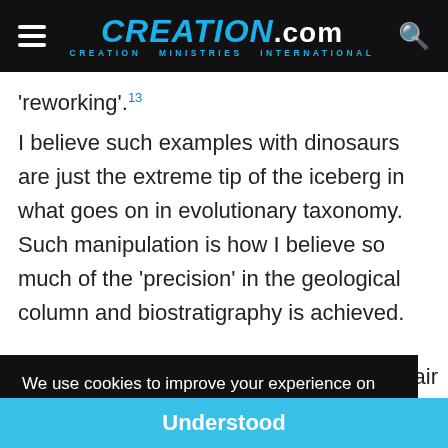CREATION.com — CREATION MINISTRIES INTERNATIONAL
'reworking'.13
I believe such examples with dinosaurs are just the extreme tip of the iceberg in what goes on in evolutionary taxonomy. Such manipulation is how I believe so much of the 'precision' in the geological column and biostratigraphy is achieved.
We use cookies to improve your experience on creation.com and related sites. Privacy Policy
fair amount of variability in their head fills and horns. It is
Understood